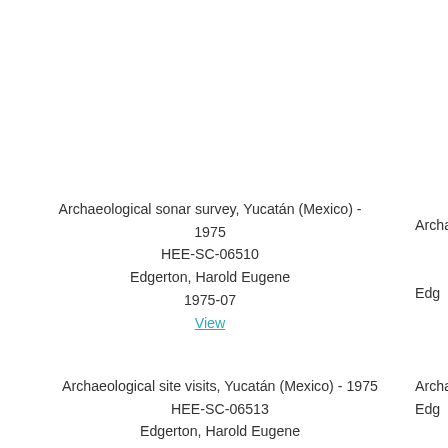Archaeological sonar survey, Yucatán (Mexico) - 1975
HEE-SC-06510
Edgerton, Harold Eugene
1975-07
View
Archaeological sor...
Edge...
Archaeological site visits, Yucatán (Mexico) - 1975
HEE-SC-06513
Edgerton, Harold Eugene
Archaeological sor...
Edge...